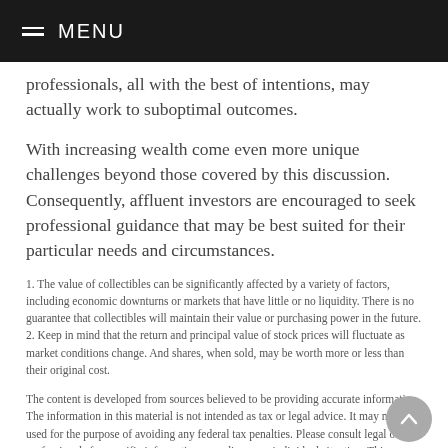MENU
professionals, all with the best of intentions, may actually work to suboptimal outcomes.
With increasing wealth come even more unique challenges beyond those covered by this discussion. Consequently, affluent investors are encouraged to seek professional guidance that may be best suited for their particular needs and circumstances.
1. The value of collectibles can be significantly affected by a variety of factors, including economic downturns or markets that have little or no liquidity. There is no guarantee that collectibles will maintain their value or purchasing power in the future.
2. Keep in mind that the return and principal value of stock prices will fluctuate as market conditions change. And shares, when sold, may be worth more or less than their original cost.
The content is developed from sources believed to be providing accurate information. The information in this material is not intended as tax or legal advice. It may not be used for the purpose of avoiding any federal tax penalties. Please consult legal or tax professionals for specific information regarding your individual situation. This material was developed and produced by FMG Suite to provide information on a topic that may